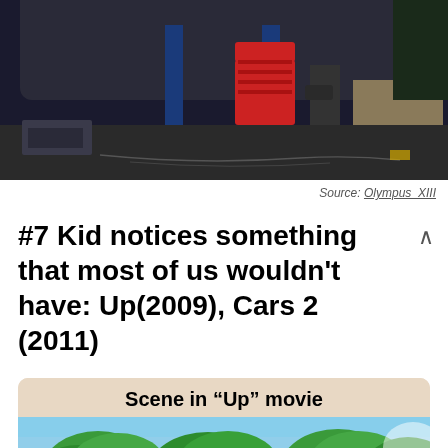[Figure (photo): Garage scene showing underside of a car on a blue hydraulic lift, with a red tool chest in the background, a person standing under the lift, and workshop shelving on the right.]
Source: Olympus_XIII
#7 Kid notices something that most of us wouldn't have: Up(2009), Cars 2 (2011)
[Figure (photo): Card showing 'Scene in "Up" movie' with an image of a jungle/forest scene with green trees and blue sky, appearing to be from the Pixar movie Up.]